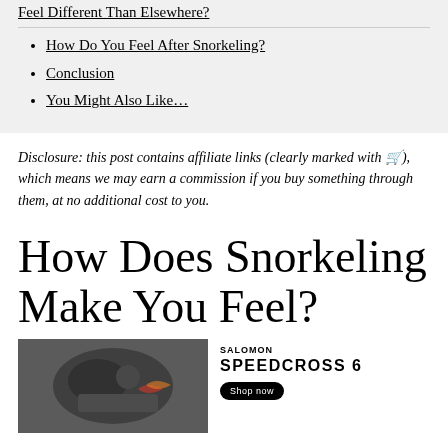Feel Different Than Elsewhere?
How Do You Feel After Snorkeling?
Conclusion
You Might Also Like…
Disclosure: this post contains affiliate links (clearly marked with 🛒), which means we may earn a commission if you buy something through them, at no additional cost to you.
How Does Snorkeling Make You Feel?
[Figure (photo): Snorkeling scene photo with underwater/fish imagery, partially visible at bottom of page, alongside a Salomon Speedcross 6 advertisement]